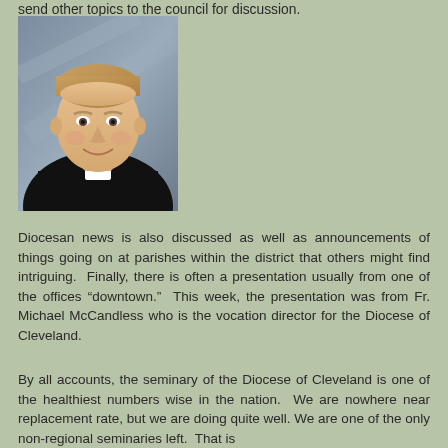send other topics to the council for discussion.
[Figure (photo): Portrait photo of a smiling young man with blonde hair wearing a black clerical suit with white collar, photographed against a gray background]
Diocesan news is also discussed as well as announcements of things going on at parishes within the district that others might find intriguing. Finally, there is often a presentation usually from one of the offices “downtown.” This week, the presentation was from Fr. Michael McCandless who is the vocation director for the Diocese of Cleveland.
By all accounts, the seminary of the Diocese of Cleveland is one of the healthiest numbers wise in the nation. We are nowhere near replacement rate, but we are doing quite well. We are one of the only non-regional seminaries left. That is